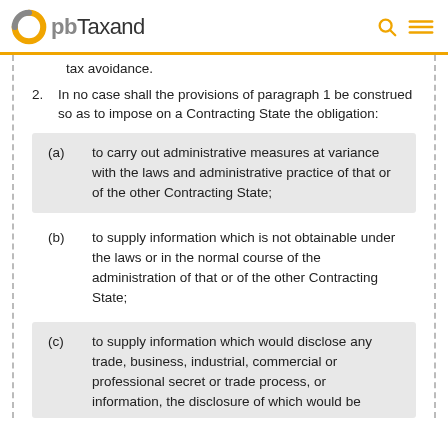pbTaxand
tax avoidance.
2. In no case shall the provisions of paragraph 1 be construed so as to impose on a Contracting State the obligation:
(a) to carry out administrative measures at variance with the laws and administrative practice of that or of the other Contracting State;
(b) to supply information which is not obtainable under the laws or in the normal course of the administration of that or of the other Contracting State;
(c) to supply information which would disclose any trade, business, industrial, commercial or professional secret or trade process, or information, the disclosure of which would be